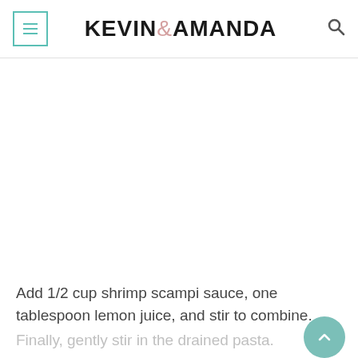KEVIN & AMANDA
[Figure (photo): Large blank/white image area in the center of the page, no visible content]
Add 1/2 cup shrimp scampi sauce, one tablespoon lemon juice, and stir to combine.
Finally, gently stir in the drained pasta.